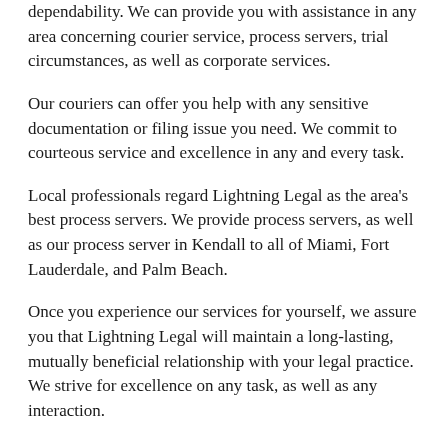dependability. We can provide you with assistance in any area concerning courier service, process servers, trial circumstances, as well as corporate services.
Our couriers can offer you help with any sensitive documentation or filing issue you need. We commit to courteous service and excellence in any and every task.
Local professionals regard Lightning Legal as the area's best process servers. We provide process servers, as well as our process server in Kendall to all of Miami, Fort Lauderdale, and Palm Beach.
Once you experience our services for yourself, we assure you that Lightning Legal will maintain a long-lasting, mutually beneficial relationship with your legal practice. We strive for excellence on any task, as well as any interaction.